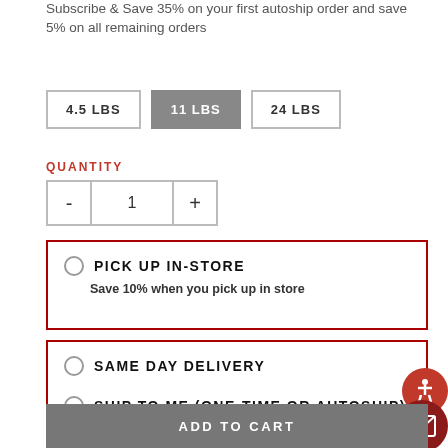Subscribe & Save 35% on your first autoship order and save 5% on all remaining orders
4.5 LBS
11 LBS
24 LBS
QUANTITY
- 1 +
PICK UP IN-STORE
Save 10% when you pick up in store
SAME DAY DELIVERY
SHIP TO ME (ONE-TIME OR AUTOSHIP)
ADD TO CART